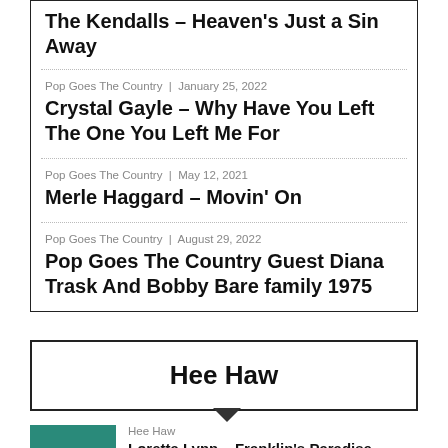The Kendalls – Heaven's Just a Sin Away
Pop Goes The Country | January 25, 2022
Crystal Gayle – Why Have You Left The One You Left Me For
Pop Goes The Country | May 12, 2021
Merle Haggard – Movin' On
Pop Goes The Country | August 29, 2022
Pop Goes The Country Guest Diana Trask And Bobby Bare family 1975
Hee Haw
Hee Haw
Loretta Lynn – Franklin's Paradise